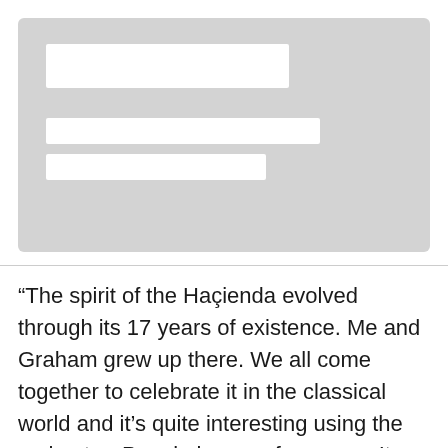[Figure (screenshot): Gray card/placeholder image with three white rectangular bars representing UI input fields or image placeholder elements]
“The spirit of the Haçienda evolved through its 17 years of existence. Me and Graham grew up there. We all come together to celebrate it in the classical world and it’s quite interesting using the orchestra. People love performance. It amazes me, even now, to be able to play concerts after I’ve been playing for